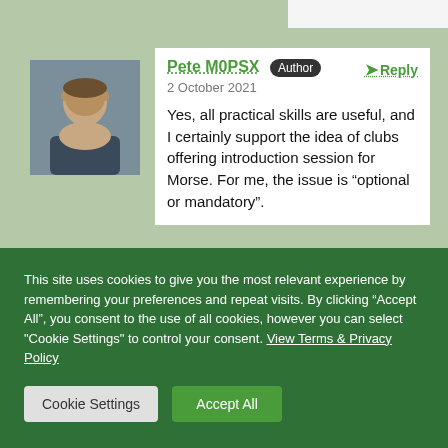[Figure (photo): Avatar/profile photo of Pete M0PSX, a man with short brown hair]
Pete M0PSX  Author
2 October 2021
Yes, all practical skills are useful, and I certainly support the idea of clubs offering introduction session for Morse. For me, the issue is “optional or mandatory”.
This site uses cookies to give you the most relevant experience by remembering your preferences and repeat visits. By clicking “Accept All”, you consent to the use of all cookies, however you can select "Cookie Settings" to control your consent. View Terms & Privacy Policy
Cookie Settings   Accept All